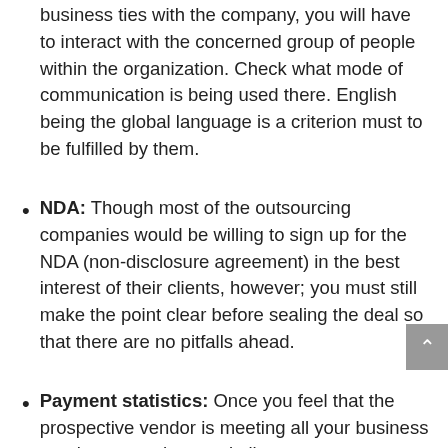business ties with the company, you will have to interact with the concerned group of people within the organization. Check what mode of communication is being used there. English being the global language is a criterion must to be fulfilled by them.
NDA: Though most of the outsourcing companies would be willing to sign up for the NDA (non-disclosure agreement) in the best interest of their clients, however; you must still make the point clear before sealing the deal so that there are no pitfalls ahead.
Payment statistics: Once you feel that the prospective vendor is meeting all your business requirements, the next in line comes payment. You will have to see if quotation fits to your budget. If you feel that the quote isn't feasible